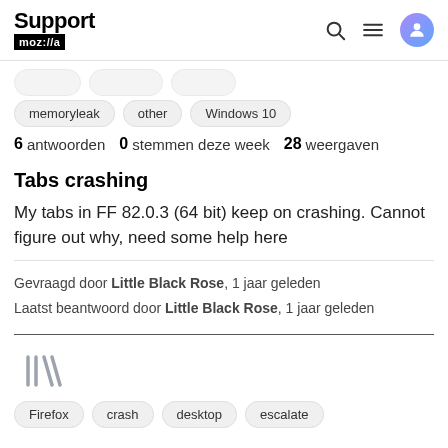Support mozilla // a
memoryleak
other
Windows 10
6 antwoorden   0 stemmen deze week   28 weergaven
Tabs crashing
My tabs in FF 82.0.3 (64 bit) keep on crashing. Cannot figure out why, need some help here
Gevraagd door Little Black Rose, 1 jaar geleden
Laatst beantwoord door Little Black Rose, 1 jaar geleden
[Figure (other): Library/bookmark icon in gray]
Firefox
crash
desktop
escalate